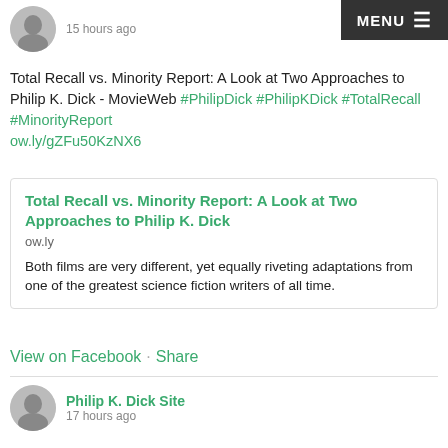Philip K. Dick Site
15 hours ago
Total Recall vs. Minority Report: A Look at Two Approaches to Philip K. Dick - MovieWeb #PhilipDick #PhilipKDick #TotalRecall #MinorityReport ow.ly/gZFu50KzNX6
Total Recall vs. Minority Report: A Look at Two Approaches to Philip K. Dick
ow.ly
Both films are very different, yet equally riveting adaptations from one of the greatest science fiction writers of all time.
View on Facebook · Share
Philip K. Dick Site
17 hours ago
Classic Comic Compendium: Do Androids Dream of